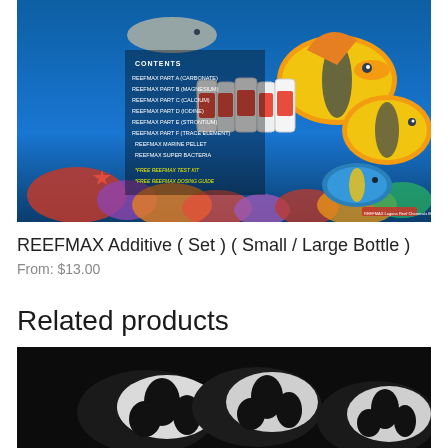[Figure (photo): Product photo of REEFMAX Additive set showing multiple supplement bottles against a vibrant coral reef background with yellow and blue tropical fish, starfish, and corals. Text overlay lists contents including REEFMAX Part A (Carbonate), Part B (Magnesium), Part C (Calcium), Part D (Iodine), Part E (Strontium), Part F (Trace Element), REEFMAX Marine Pellet, REEFMAX Super Bacteria, Free REEFMAX Test Kit, Free REEFMAX Dosing Guide.]
REEFMAX Additive ( Set ) ( Small / Large Bottle )
From: $13.00
Related products
[Figure (photo): Dark product photo showing clownfish (black and white pattern) against dark background.]